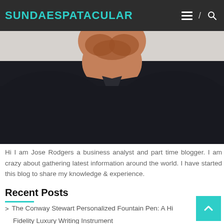SUNDAESPATACULAR
[Figure (photo): A man with reddish-brown beard wearing a dark navy/black button-up shirt, cropped to show neck and chest area, light gray background]
Hi I am Jose Rodgers a business analyst and part time blogger. I am crazy about gathering latest information around the world. I have started this blog to share my knowledge & experience.
Recent Posts
The Conway Stewart Personalized Fountain Pen: A High Fidelity Luxury Writing Instrument